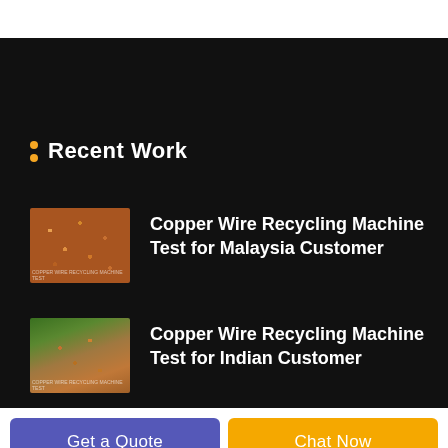Recent Work
Copper Wire Recycling Machine Test for Malaysia Customer
Copper Wire Recycling Machine Test for Indian Customer
Get a Quote
Chat Now